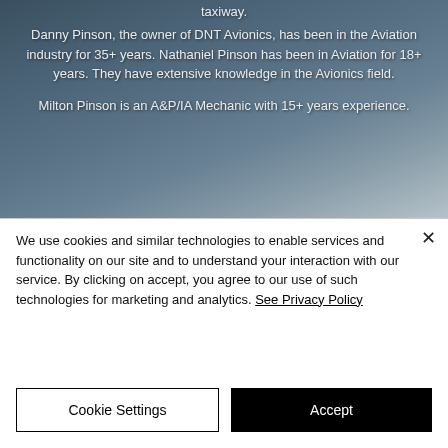[Figure (photo): Screenshot of a website about DNT Avionics with a dark blue-grey sky and clouds background. White text visible describing the company owners and their experience in the aviation and avionics field. Partially visible bottom text about dealerships with Garmin, PS...]
taxiway.
Danny Pinson, the owner of DNT Avionics, has been in the Aviation industry for 35+ years. Nathaniel Pinson has been in Aviation for 18+ years. They have extensive knowledge in the Avionics field.
Milton Pinson is an A&P/IA Mechanic with 15+ years experience.
DNT has dealerships with Garmin, PS...
We use cookies and similar technologies to enable services and functionality on our site and to understand your interaction with our service. By clicking on accept, you agree to our use of such technologies for marketing and analytics. See Privacy Policy